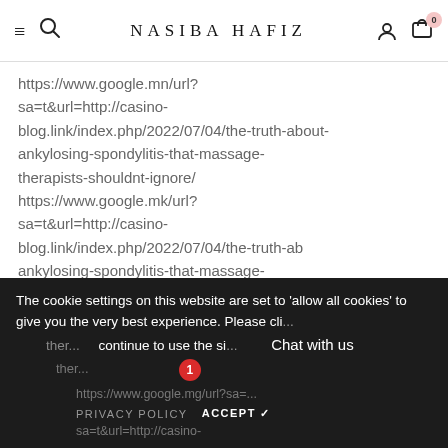≡  🔍  NASIBA HAFIZ  👤  🛒 0
https://www.google.mn/url?sa=t&url=http://casino-blog.link/index.php/2022/07/04/the-truth-about-ankylosing-spondylitis-that-massage-therapists-shouldnt-ignore/
https://www.google.mk/url?sa=t&url=http://casino-blog.link/index.php/2022/07/04/the-truth-ab...ankylosing-spondylitis-that-massage-therapists-shouldnt-ignore/
https://www.google.mg/url?sa=t&url=http://casino-
The cookie settings on this website are set to 'allow all cookies' to give you the very best experience. Please cli... continue to use the si...
PRIVACY POLICY   ACCEPT ✓
Chat with us
1